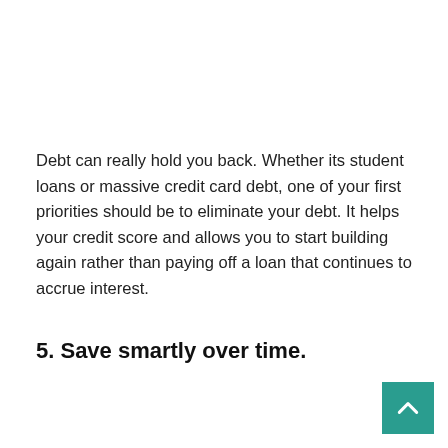Debt can really hold you back. Whether its student loans or massive credit card debt, one of your first priorities should be to eliminate your debt. It helps your credit score and allows you to start building again rather than paying off a loan that continues to accrue interest.
5. Save smartly over time.